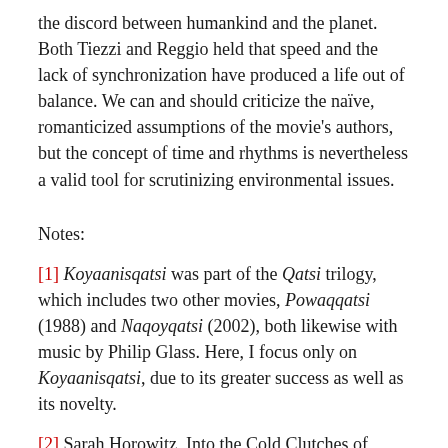the discord between humankind and the planet. Both Tiezzi and Reggio held that speed and the lack of synchronization have produced a life out of balance. We can and should criticize the naïve, romanticized assumptions of the movie's authors, but the concept of time and rhythms is nevertheless a valid tool for scrutinizing environmental issues.
Notes:
[1] Koyaanisqatsi was part of the Qatsi trilogy, which includes two other movies, Powaqqatsi (1988) and Naqoyqatsi (2002), both likewise with music by Philip Glass. Here, I focus only on Koyaanisqatsi, due to its greater success as well as its novelty.
[2] Sarah Horowitz, Into the Cold Clutches of